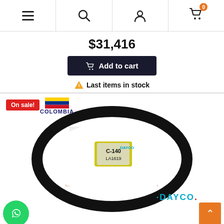Navigation bar with menu, search, user, and cart (0 items) icons
$31,416
Add to cart
Last items in stock
[Figure (photo): Product photo of a black V-belt (drive belt) by DAYCO brand, shown as an oval loop. The belt has a DAYCO branded label/tag attached. Background shows a checkered racing flag pattern watermark and the ELECTROFRENORR logo watermark. Top-left corner has an 'On sale!' red badge and a Colombia flag logo with text 'COLOMBIA'. Bottom right shows DAYCO brand text in cyan/teal color.]
RREA CO DODGE M360 CHEV B60 C70 DIESEL 13A1619 USA DAYCO